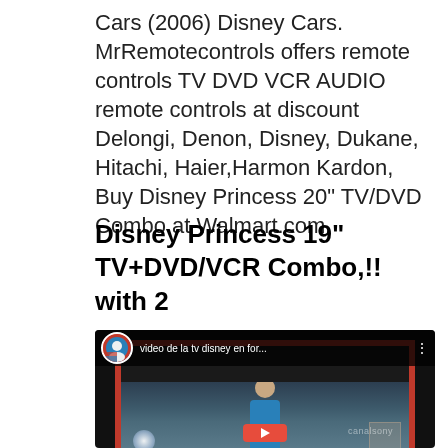Cars (2006) Disney Cars. MrRemotecontrols offers remote controls TV DVD VCR AUDIO remote controls at discount Delongi, Denon, Disney, Dukane, Hitachi, Haier,Harmon Kardon, Buy Disney Princess 20" TV/DVD Combo at Walmart.com.
Disney Princess 19" TV+DVD/VCR Combo,!! with 2
[Figure (screenshot): YouTube video thumbnail showing a video titled 'video de la tv disney en for...' with a channel avatar on the left, a video scene of a person in a room, a watermark reading 'canalsony', and a red play button at the bottom.]